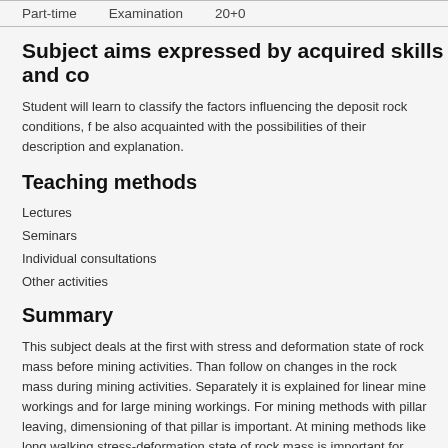| Part-time | Examination | 20+0 |
| --- | --- | --- |
Subject aims expressed by acquired skills and co
Student will learn to classify the factors influencing the deposit rock conditions, f be also acquainted with the possibilities of their description and explanation.
Teaching methods
Lectures
Seminars
Individual consultations
Other activities
Summary
This subject deals at the first with stress and deformation state of rock mass before mining activities. Than follow on changes in the rock mass during mining activities. Separately it is explained for linear mine workings and for large mining workings. For mining methods with pillar leaving, dimensioning of that pillar is important. At mining methods like long walking stress-deformation state of rock mass is important for right choose of technological arrangements. The attention to the anomalous rock mass behaviour is paid.
Compulsory literature: